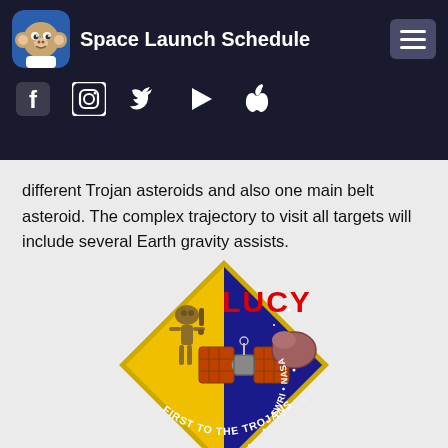Space Launch Schedule
different Trojan asteroids and also one main belt asteroid. The complex trajectory to visit all targets will include several Earth gravity assists.
[Figure (logo): Lucy mission patch — diamond-shaped badge with 'LUCY' in red text, spacecraft with solar panels, asteroid, text 'FIRST TO THE TROJANS' and 'SWRI · NASA · LM' on dark blue and yellow background.]